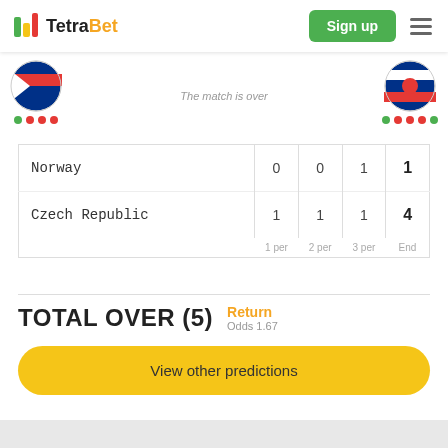TetraBet — Sign up
[Figure (screenshot): Team flag circles and dot indicators for Norway (left) and Czech Republic (right), with match status 'The match is over' in center]
The match is over
|  | 1 per | 2 per | 3 per | End |
| --- | --- | --- | --- | --- |
| Norway | 0 | 0 | 1 | 1 |
| Czech Republic | 1 | 1 | 1 | 4 |
TOTAL OVER (5)
Return
Odds 1.67
View other predictions